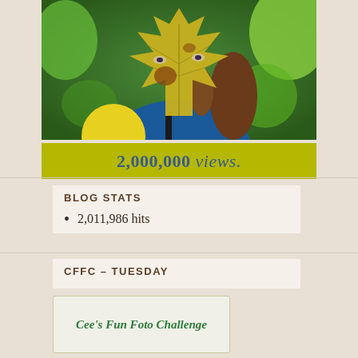[Figure (photo): Person holding a large yellow autumn maple leaf in front of their face, wearing a blue jacket with a camera strap visible, green foliage background]
2,000,000 views.
BLOG STATS
2,011,986 hits
CFFC – TUESDAY
[Figure (illustration): Cee's Fun Foto Challenge badge/logo with green text on light background]